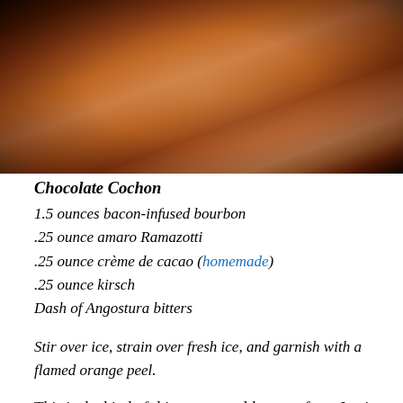[Figure (photo): Close-up photo of a cocktail in a round glass against a dark/black background, showing amber/brown liquid with warm orange tones]
Chocolate Cochon
1.5 ounces bacon-infused bourbon
.25 ounce amaro Ramazotti
.25 ounce crème de cacao (homemade)
.25 ounce kirsch
Dash of Angostura bitters
Stir over ice, strain over fresh ice, and garnish with a flamed orange peel.
This is the kind of thing you would expect from Jamie Boudreau. I didn't have any Kirsch, but honestly, I can't imagine that made one whit of difference. I combined all of